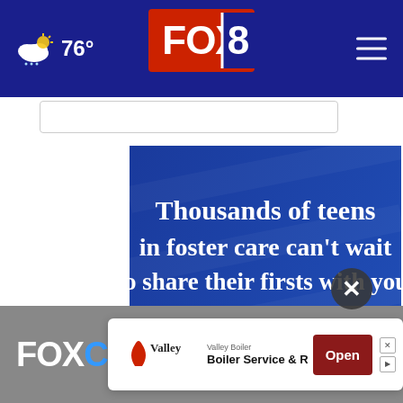76° FOX 8
[Figure (screenshot): FOX 8 website screenshot with navigation header showing weather (76°), FOX 8 logo, and hamburger menu on dark blue background]
[Figure (infographic): AdoptUSKids advertisement: 'Thousands of teens in foster care can't wait to share their firsts with you.' with a 'Learn About Adoption' button, HHS logo, AdoptUSKids logo, and Ad Council logo on blue background]
[Figure (infographic): Bottom sticky advertisement for Valley Boiler - Boiler Service & Repair with Open button]